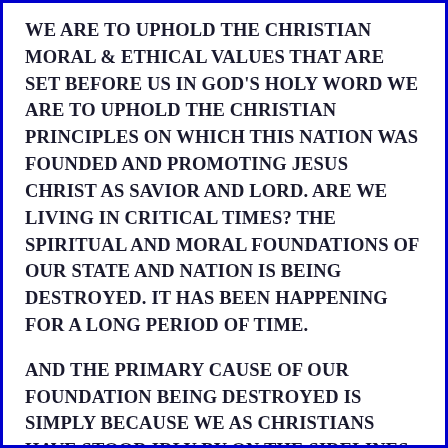WE ARE TO UPHOLD THE CHRISTIAN MORAL & ETHICAL VALUES THAT ARE SET BEFORE US IN GOD'S HOLY WORD WE ARE TO UPHOLD THE CHRISTIAN PRINCIPLES ON WHICH THIS NATION WAS FOUNDED AND PROMOTING JESUS CHRIST AS SAVIOR AND LORD. ARE WE LIVING IN CRITICAL TIMES? THE SPIRITUAL AND MORAL FOUNDATIONS OF OUR STATE AND NATION IS BEING DESTROYED. IT HAS BEEN HAPPENING FOR A LONG PERIOD OF TIME.
AND THE PRIMARY CAUSE OF OUR FOUNDATION BEING DESTROYED IS SIMPLY BECAUSE WE AS CHRISTIANS HAVE STOOD IDLY BY ON THE SIDELINES AND ALLOWED MUCH OF WHAT IS